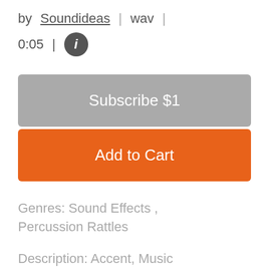by Soundideas | wav |
0:05 | ℹ
Subscribe $1
Add to Cart
Genres: Sound Effects , Percussion Rattles
Description: Accent, Music